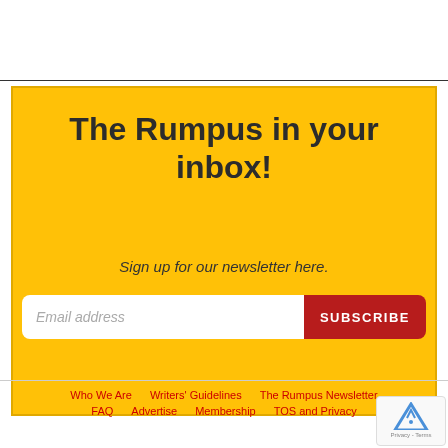The Rumpus in your inbox!
Sign up for our newsletter here.
Email address
SUBSCRIBE
Who We Are   Writers' Guidelines   The Rumpus Newsletter   FAQ   Advertise   Membership   TOS and Privacy